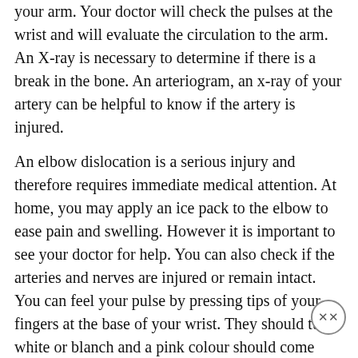your arm. Your doctor will check the pulses at the wrist and will evaluate the circulation to the arm. An X-ray is necessary to determine if there is a break in the bone. An arteriogram, an x-ray of your artery can be helpful to know if the artery is injured.
An elbow dislocation is a serious injury and therefore requires immediate medical attention. At home, you may apply an ice pack to the elbow to ease pain and swelling. However it is important to see your doctor for help. You can also check if the arteries and nerves are injured or remain intact. You can feel your pulse by pressing tips of your fingers at the base of your wrist. They should turn white or blanch and a pink colour should come back in 3 seconds. To check for nerves, first bend your wrist up and move your fingers apart and then touch your thumb to your little finger. You can also check for numbness all over your hand and arm. If you have problem with any of these tests you